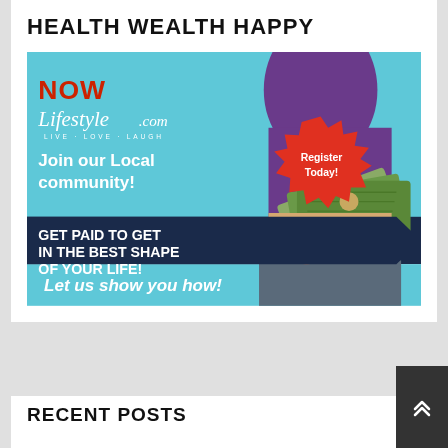HEALTH WEALTH HAPPY
[Figure (illustration): NOW Lifestyle.com advertisement banner. Light blue and dark navy background. Text: 'Join our Local community!' and 'GET PAID TO GET IN THE BEST SHAPE OF YOUR LIFE!' and 'Let us show you how!' with a red starburst shape saying 'Register Today!' and an image of a person holding dollar bills.]
RECENT POSTS